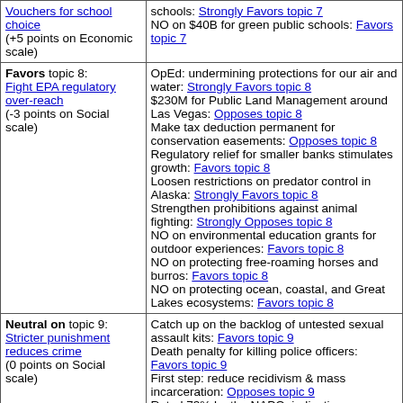| Topic (left) | Evidence (right) |
| --- | --- |
| Vouchers for school choice (+5 points on Economic scale) | schools: Strongly Favors topic 7
NO on $40B for green public schools: Favors topic 7 |
| Favors topic 8: Fight EPA regulatory over-reach (-3 points on Social scale) | OpEd: undermining protections for our air and water: Strongly Favors topic 8
$230M for Public Land Management around Las Vegas: Opposes topic 8
Make tax deduction permanent for conservation easements: Opposes topic 8
Regulatory relief for smaller banks stimulates growth: Favors topic 8
Loosen restrictions on predator control in Alaska: Strongly Favors topic 8
Strengthen prohibitions against animal fighting: Strongly Opposes topic 8
NO on environmental education grants for outdoor experiences: Favors topic 8
NO on protecting free-roaming horses and burros: Favors topic 8
NO on protecting ocean, coastal, and Great Lakes ecosystems: Favors topic 8 |
| Neutral on topic 9: Stricter punishment reduces crime (0 points on Social scale) | Catch up on the backlog of untested sexual assault kits: Favors topic 9
Death penalty for killing police officers: Favors topic 9
First step: reduce recidivism & mass incarceration: Opposes topic 9
Rated 73% by the NAPO, indicating a moderate stance on police issues: Neutral on topic 9
YES on expanding services for offenders' re-entry into society: Opposes topic 9 |